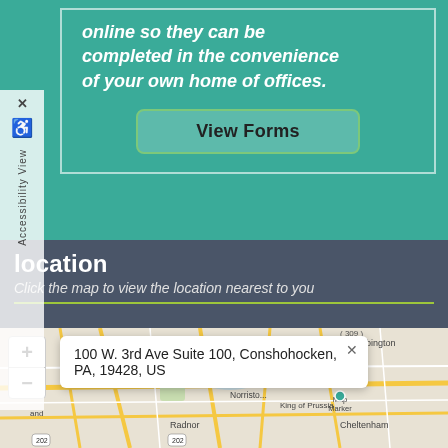online so they can be completed in the convenience of your own home of offices.
View Forms
Location
Click the map to view the location nearest to you
[Figure (map): Interactive map showing location near Conshohocken, PA area with popup showing address: 100 W. 3rd Ave Suite 100, Conshohocken, PA, 19428, US. Map shows surrounding areas including Norristown, King of Prussia, Abington, Cheltenham, Radnor. Roads 309 and 202 visible.]